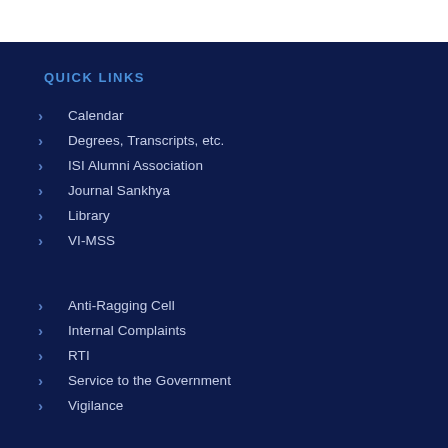QUICK LINKS
Calendar
Degrees, Transcripts, etc.
ISI Alumni Association
Journal Sankhya
Library
VI-MSS
Anti-Ragging Cell
Internal Complaints
RTI
Service to the Government
Vigilance